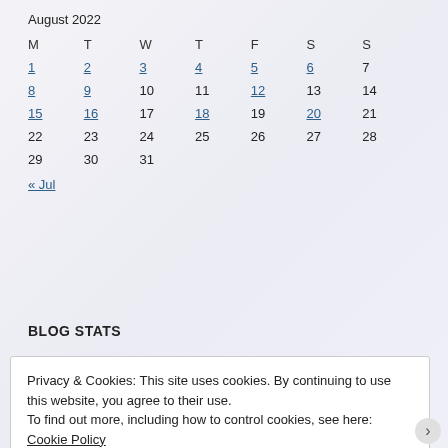August 2022
| M | T | W | T | F | S | S |
| --- | --- | --- | --- | --- | --- | --- |
| 1 | 2 | 3 | 4 | 5 | 6 | 7 |
| 8 | 9 | 10 | 11 | 12 | 13 | 14 |
| 15 | 16 | 17 | 18 | 19 | 20 | 21 |
| 22 | 23 | 24 | 25 | 26 | 27 | 28 |
| 29 | 30 | 31 |  |  |  |  |
« Jul
BLOG STATS
Privacy & Cookies: This site uses cookies. By continuing to use this website, you agree to their use.
To find out more, including how to control cookies, see here: Cookie Policy
Close and accept